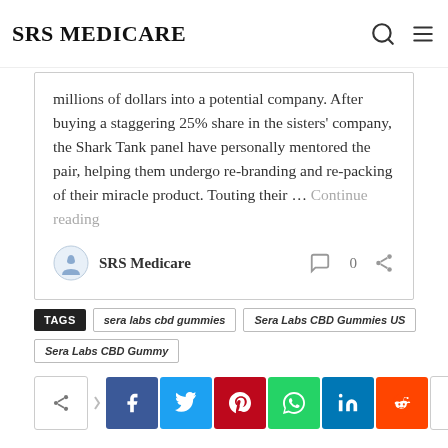SRS MEDICARE
millions of dollars into a potential company. After buying a staggering 25% share in the sisters' company, the Shark Tank panel have personally mentored the pair, helping them undergo re-branding and re-packing of their miracle product. Touting their … Continue reading
SRS Medicare  0
TAGS  sera labs cbd gummies  Sera Labs CBD Gummies US  Sera Labs CBD Gummy
[Figure (infographic): Social media share buttons: share icon, Facebook, Twitter, Pinterest, WhatsApp, LinkedIn, Reddit, more (+)]